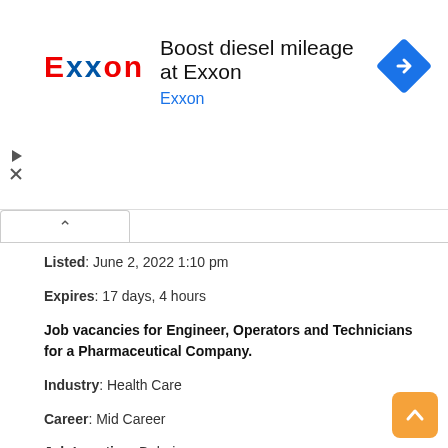[Figure (infographic): Exxon advertisement banner with Exxon logo on left, ad title 'Boost diesel mileage at Exxon', subtitle 'Exxon', and a blue diamond turn arrow icon on the right.]
Listed: June 2, 2022 1:10 pm
Expires: 17 days, 4 hours
Job vacancies for Engineer, Operators and Technicians for a Pharmaceutical Company.
Industry: Health Care
Career: Mid Career
Job Location: Dubai
Salary: Unspecified
Experience: 2 – 5 Years